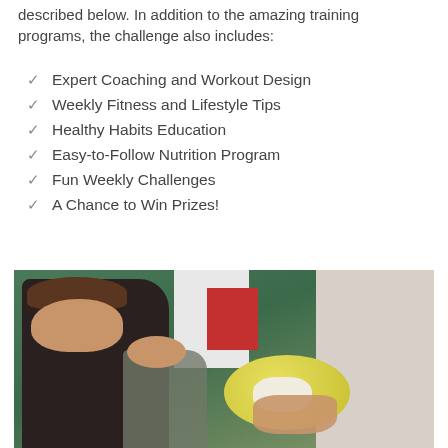described below. In addition to the amazing training programs, the challenge also includes:
Expert Coaching and Workout Design
Weekly Fitness and Lifestyle Tips
Healthy Habits Education
Easy-to-Follow Nutrition Program
Fun Weekly Challenges
A Chance to Win Prizes!
[Figure (photo): Woman in black top pressing a yellow exercise ball against a wall in a gym setting, with another person visible in the background.]